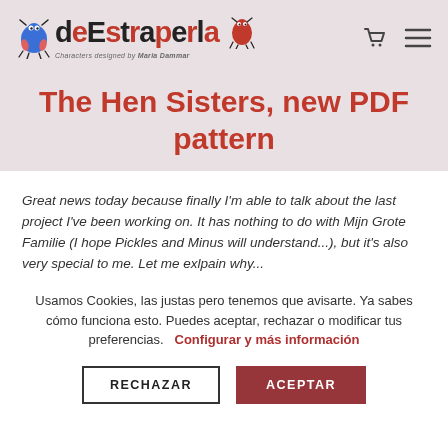deEstraperla — Characters designed by Maria Dammar
The Hen Sisters, new PDF pattern
Great news today because finally I'm able to talk about the last project I've been working on. It has nothing to do with Mijn Grote Familie (I hope Pickles and Minus will understand...), but it's also very special to me. Let me exlpain why...
Usamos Cookies, las justas pero tenemos que avisarte. Ya sabes cómo funciona esto. Puedes aceptar, rechazar o modificar tus preferencias.  Configurar y más información
RECHAZAR   ACEPTAR